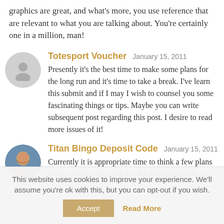graphics are great, and what's more, you use reference that are relevant to what you are talking about. You're certainly one in a million, man!
Totesport Voucher   January 15, 2011
Presently it's the best time to make some plans for the long run and it's time to take a break. I've learn this submit and if I may I wish to counsel you some fascinating things or tips. Maybe you can write subsequent post regarding this post. I desire to read more issues of it!
Titan Bingo Deposit Code   January 15, 2011
Currently it is appropriate time to think a few plans for the longer term and it is the moment to take a
This website uses cookies to improve your experience. We'll assume you're ok with this, but you can opt-out if you wish.
Accept   Read More